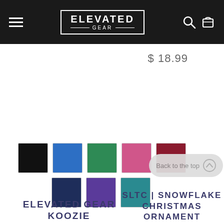ELEVATED GEAR
$ 18.99
[Figure (other): Color swatches grid: row 1 - black, blue, green, pink/magenta, dark red; row 2 - navy, purple, teal]
ELEVATED GEAR KOOZIE
SLTC | SNOWFLAKE CHRISTMAS ORNAMENT